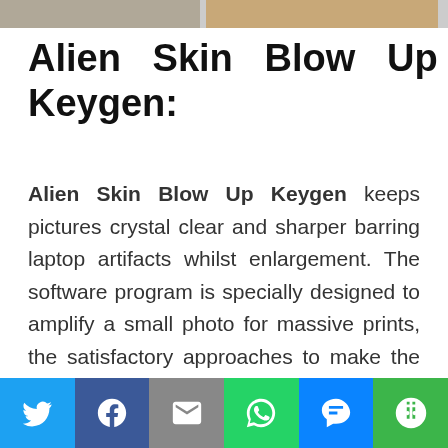[Figure (photo): Two partial photo thumbnails at the top of the page]
Alien Skin Blow Up Keygen:
Alien Skin Blow Up Keygen keeps pictures crystal clear and sharper barring laptop artifacts whilst enlargement. The software program is specially designed to amplify a small photo for massive prints, the satisfactory approaches to make the image sharper barring pc artifacts. Alien Skin Blow Up can resize up to 300,000 pixels per side, guide batch processing, and is integrated with Photoshop, Photoshop Elements, and Photoshop Lightroom.
[Figure (infographic): Social media share bar with Twitter, Facebook, Email, WhatsApp, SMS, and More buttons]